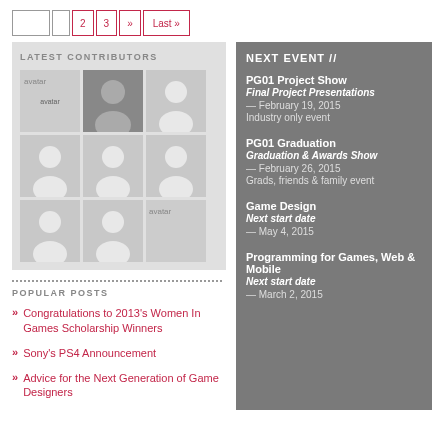« 1 2 3 » Last »
LATEST CONTRIBUTORS
[Figure (illustration): 3x3 grid of contributor avatars, some with photos and some with silhouette placeholders]
POPULAR POSTS
Congratulations to 2013's Women In Games Scholarship Winners
Sony's PS4 Announcement
Advice for the Next Generation of Game Designers
NEXT EVENT //
PG01 Project Show
Final Project Presentations
— February 19, 2015
Industry only event
PG01 Graduation
Graduation & Awards Show
— February 26, 2015
Grads, friends & family event
Game Design
Next start date
— May 4, 2015
Programming for Games, Web & Mobile
Next start date
— March 2, 2015